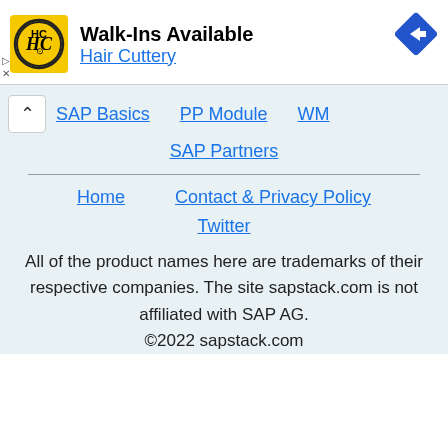[Figure (illustration): Hair Cuttery advertisement banner with yellow HC logo, text 'Walk-Ins Available' and 'Hair Cuttery', blue arrow navigation icon, and ad controls (play/close buttons).]
SAP Basics  PP Module  WM  SAP Partners
Home  Contact & Privacy Policy  Twitter
All of the product names here are trademarks of their respective companies. The site sapstack.com is not affiliated with SAP AG. ©2022 sapstack.com